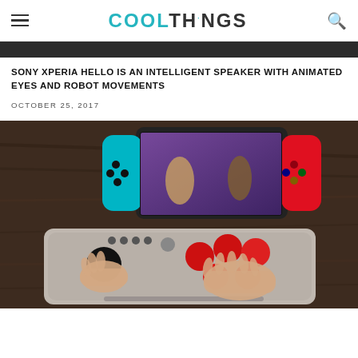COOLTHINGS
SONY XPERIA HELLO IS AN INTELLIGENT SPEAKER WITH ANIMATED EYES AND ROBOT MOVEMENTS
OCTOBER 25, 2017
[Figure (photo): Hands using an arcade fight stick controller on a wooden table, with a Nintendo Switch gaming console in the background showing a fighting game.]